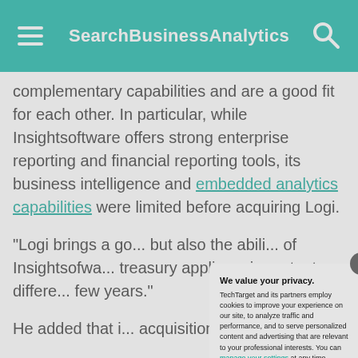SearchBusinessAnalytics
complementary capabilities and are a good fit for each other. In particular, while Insightsoftware offers strong enterprise reporting and financial reporting tools, its business intelligence and embedded analytics capabilities were limited before acquiring Logi.
"Logi brings a go... but also the abili... of Insightsoftwa... treasury applica... important differe... few years."
He added that i... acquisition shou...
"After the acquis...
[Figure (screenshot): Privacy consent modal dialog overlay. Title: 'We value your privacy.' Body: 'TechTarget and its partners employ cookies to improve your experience on our site, to analyze traffic and performance, and to serve personalized content and advertising that are relevant to your professional interests. You can manage your settings at any time. Please view our Privacy Policy for more information'. Buttons: OK (teal), Settings (gray outline).]